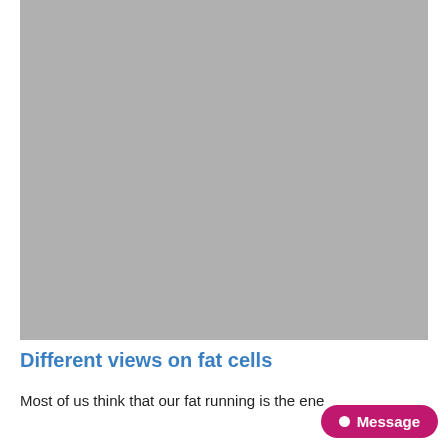[Figure (photo): Large gray placeholder image occupying the upper portion of the page]
Different views on fat cells​
Most of us think that our fat running is the ene